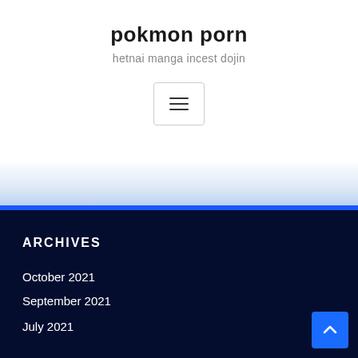pokmon porn
hetnai manga incest dojin
[Figure (other): Hamburger menu button icon with three horizontal lines]
ARCHIVES
October 2021
September 2021
July 2021